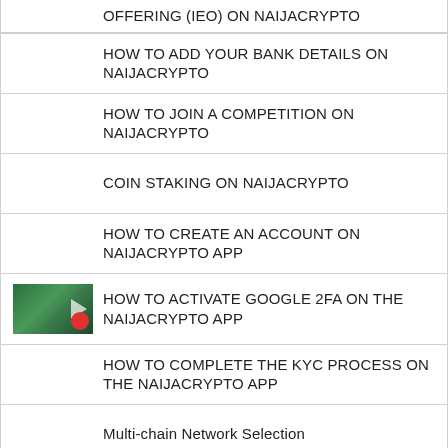OFFERING (IEO) ON NAIJACRYPTO
HOW TO ADD YOUR BANK DETAILS ON NAIJACRYPTO
HOW TO JOIN A COMPETITION ON NAIJACRYPTO
COIN STAKING ON NAIJACRYPTO
HOW TO CREATE AN ACCOUNT ON NAIJACRYPTO APP
HOW TO ACTIVATE GOOGLE 2FA ON THE NAIJACRYPTO APP
HOW TO COMPLETE THE KYC PROCESS ON THE NAIJACRYPTO APP
Multi-chain Network Selection